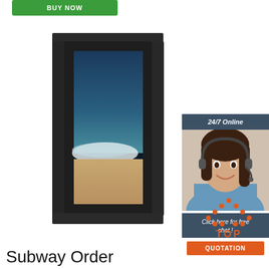[Figure (screenshot): Green button labeled 'BUY NOW' at top left]
[Figure (photo): Product image: tall vertical black outdoor digital signage kiosk with beach scene displayed on screen]
[Figure (infographic): 24/7 Online chat widget on the right side with dark header, photo of female customer service agent with headset, 'Click here for free chat!' text, and orange QUOTATION button]
[Figure (logo): Orange dotted triangle 'TOP' icon in lower right]
Subway Order